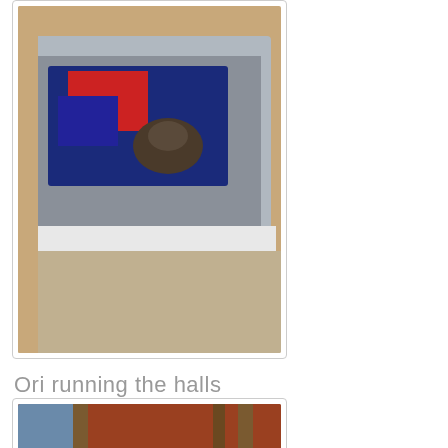[Figure (photo): A small animal (opossum) peeking out from inside a plastic container with a colorful blanket/fabric in it]
Ori running the halls
[Figure (photo): A small hairless opossum walking on a reddish-brown floor near wooden furniture legs, viewed from above]
In a closet
[Figure (photo): Colorful clothing or fabric items visible in a closet, partial view]